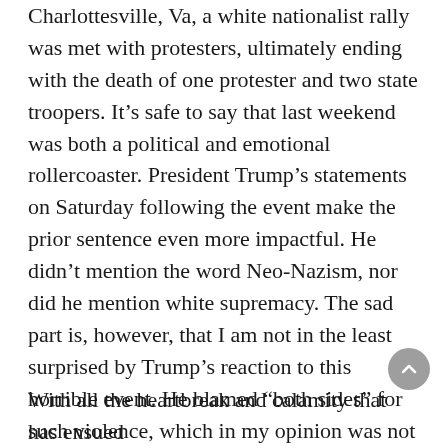Charlottesville, Va, a white nationalist rally was met with protesters, ultimately ending with the death of one protester and two state troopers. It’s safe to say that last weekend was both a political and emotional rollercoaster. President Trump’s statements on Saturday following the event make the prior sentence even more impactful. He didn’t mention the word Neo-Nazism, nor did he mention white supremacy. The sad part is, however, that I am not in the least surprised by Trump’s reaction to this horrible event. He blamed “both sides” for such violence, which in my opinion was not a reasonable answer. There’s one side that is much worse than the other, and that would be the side of the white extremists. Nazis and white supremacists are the only “side” we need to worry about, not what Trump considers the other side–the counter-protesters who are simply fighting for what they believe in and standing up for what’s right.
With all the heartbreak and calamity that has ensued...